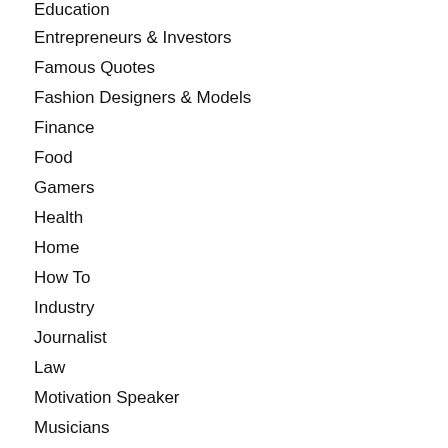Education
Entrepreneurs & Investors
Famous Quotes
Fashion Designers & Models
Finance
Food
Gamers
Health
Home
How To
Industry
Journalist
Law
Motivation Speaker
Musicians
Net Worth